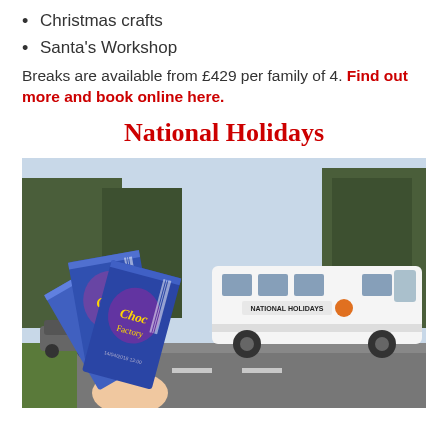Christmas crafts
Santa's Workshop
Breaks are available from £429 per family of 4. Find out more and book online here.
National Holidays
[Figure (photo): Person holding National Holidays event tickets in foreground, white National Holidays coach bus parked on a road with trees in background]